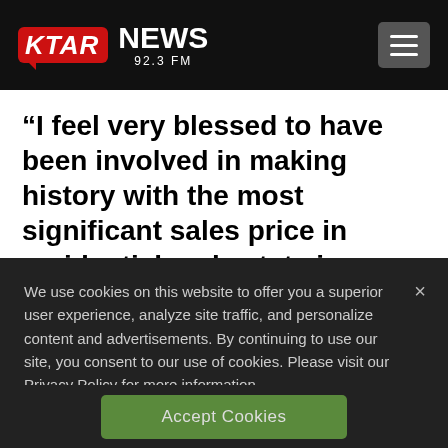KTAR NEWS 92.3 FM
“I feel very blessed to have been involved in making history with the most significant sales price in residential real estate in Arizona,” she said in a statement. “Our luxury market continues to thrive with national and
We use cookies on this website to offer you a superior user experience, analyze site traffic, and personalize content and advertisements. By continuing to use our site, you consent to our use of cookies. Please visit our Privacy Policy for more information.
Accept Cookies